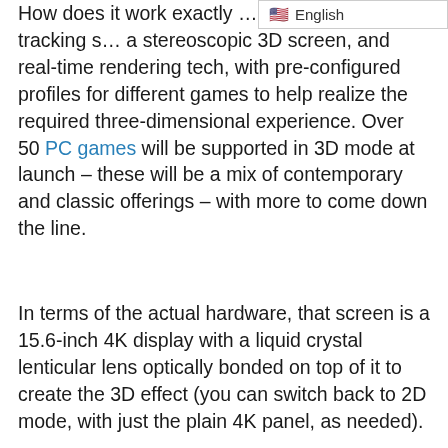How does it work exactly … utilizes an eye-tracking s… a stereoscopic 3D screen, and real-time rendering tech, with pre-configured profiles for different games to help realize the required three-dimensional experience. Over 50 PC games will be supported in 3D mode at launch – these will be a mix of contemporary and classic offerings – with more to come down the line.
In terms of the actual hardware, that screen is a 15.6-inch 4K display with a liquid crystal lenticular lens optically bonded on top of it to create the 3D effect (you can switch back to 2D mode, with just the plain 4K panel, as needed).